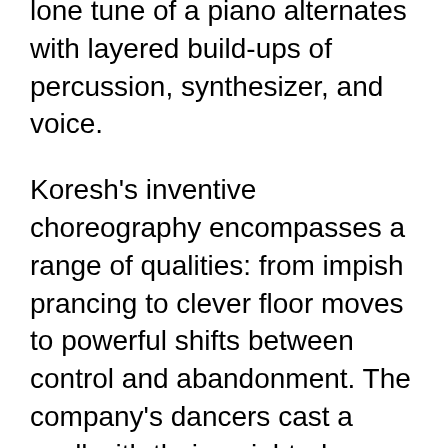lone tune of a piano alternates with layered build-ups of percussion, synthesizer, and voice.
Koresh's inventive choreography encompasses a range of qualities: from impish prancing to clever floor moves to powerful shifts between control and abandonment. The company's dancers cast a spell with their weighted, earthy dancing. We hear their feet stamping on the floor and their heavy breathing. In addition to the choreography, Koresh designed the understated costumes for the production.
The dance's concluding section, subtitled “Lev” (Hebrew for “heart”), features Paige Devitt entrancing Devon Larcher into a state of trusting harmony. Their profound relationship as muse and artist emerges organically, as if it cannot be summoned by force of will. The duo is joined by the full company in a rousing finale — its hypnotic effect intensified by the pounding music and repetitive unison dancing. It’s a powerful